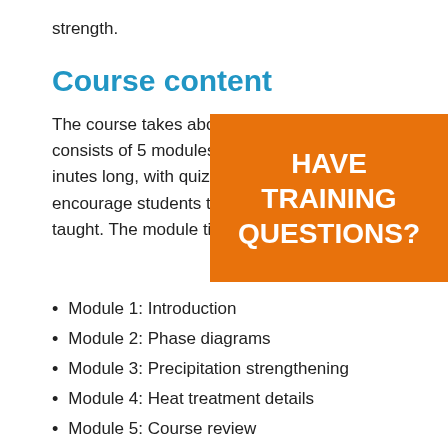strength.
Course content
The course takes about 2 hours to complete and consists of 5 modules. Each module is 20-30 minutes long, with quizzes and problems given to encourage students to apply the concepts taught. The module titles are:
[Figure (other): Orange overlay banner with text: HAVE TRAINING QUESTIONS?]
Module 1: Introduction
Module 2: Phase diagrams
Module 3: Precipitation strengthening
Module 4: Heat treatment details
Module 5: Course review